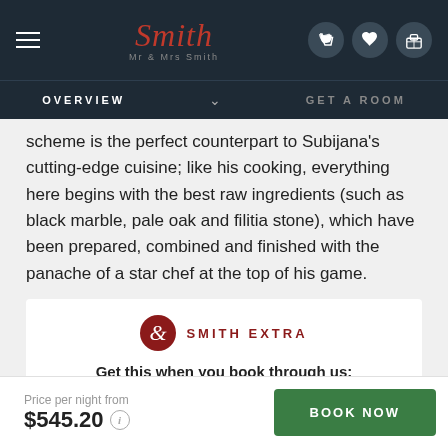[Figure (screenshot): Mr & Mrs Smith website header with logo, hamburger menu, and nav icons on dark navy background]
OVERVIEW   GET A ROOM
scheme is the perfect counterpart to Subijana's cutting-edge cuisine; like his cooking, everything here begins with the best raw ingredients (such as black marble, pale oak and filitia stone), which have been prepared, combined and finished with the panache of a star chef at the top of his game.
SMITH EXTRA
Get this when you book through us:
€30 spa credit and a bottle of limited-edition Akelarre wine
Price per night from $545.20
BOOK NOW